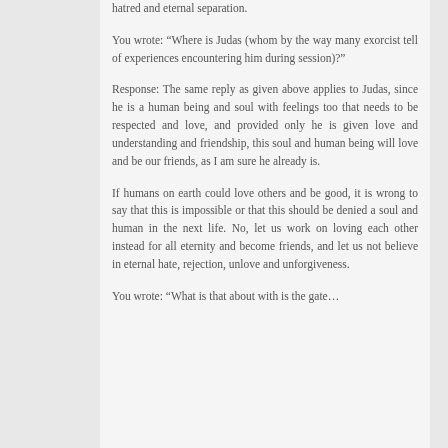hatred and eternal separation.
You wrote: “Where is Judas (whom by the way many exorcist tell of experiences encountering him during session)?”
Response: The same reply as given above applies to Judas, since he is a human being and soul with feelings too that needs to be respected and love, and provided only he is given love and understanding and friendship, this soul and human being will love and be our friends, as I am sure he already is.
If humans on earth could love others and be good, it is wrong to say that this is impossible or that this should be denied a soul and human in the next life. No, let us work on loving each other instead for all eternity and become friends, and let us not believe in eternal hate, rejection, unlove and unforgiveness.
You wrote: “What is that about with is the gate…